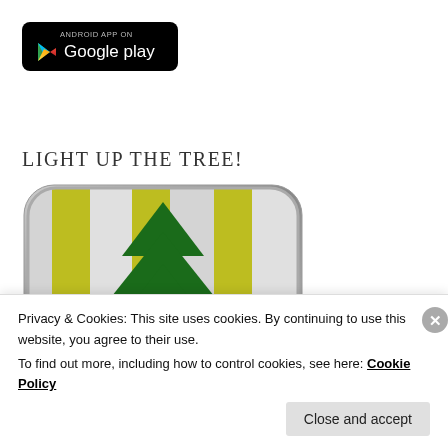[Figure (logo): Android App on Google Play badge — black rounded rectangle with Google Play logo (colorful triangle) and text 'ANDROID APP ON Google play']
LIGHT UP THE TREE!
[Figure (screenshot): App icon showing a Christmas tree (dark green) on a striped background of alternating white/gray and yellow-green vertical stripes, inside a rounded rectangle with gray border gradient.]
Privacy & Cookies: This site uses cookies. By continuing to use this website, you agree to their use.
To find out more, including how to control cookies, see here: Cookie Policy
Close and accept